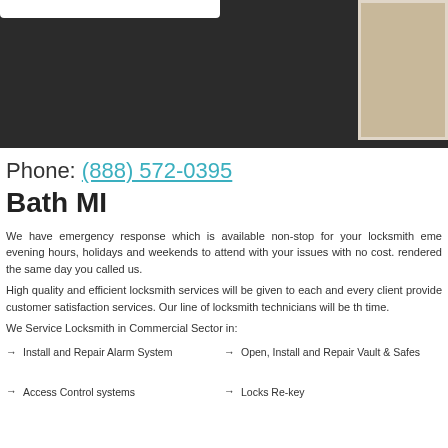[Figure (photo): Dark header banner with a photo of what appears to be a keyboard or locksmith-related image in the top right corner]
Phone: (888) 572-0395
Bath MI
We have emergency response which is available non-stop for your locksmith eme evening hours, holidays and weekends to attend with your issues with no cost. rendered the same day you called us.
High quality and efficient locksmith services will be given to each and every client provide customer satisfaction services. Our line of locksmith technicians will be th time.
We Service Locksmith in Commercial Sector in:
Install and Repair Alarm System
Open, Install and Repair Vault & Safes
Access Control systems
Locks Re-key